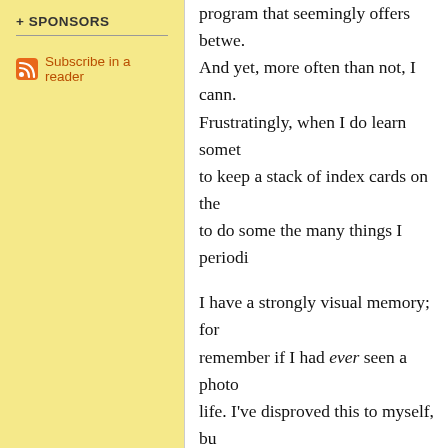+ SPONSORS
Subscribe in a reader
program that seemingly offers betwe. And yet, more often than not, I cann. Frustratingly, when I do learn somet to keep a stack of index cards on the to do some the many things I periodi

I have a strongly visual memory; for remember if I had ever seen a photo life. I've disproved this to myself, bu however, good at abstractions. I'm o at algebra, but I got the highest grad had ever given out. It was simple: it chemistry, which is abstract or migh recognize things by the look of their When products change labels, they e while. When I remember a person, n time to surface. This used to worry r until I realized that the faces were al instant. With the visuals, my memor